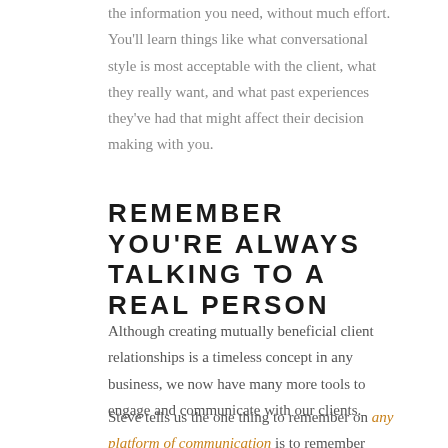the information you need, without much effort. You'll learn things like what conversational style is most acceptable with the client, what they really want, and what past experiences they've had that might affect their decision making with you.
REMEMBER YOU'RE ALWAYS TALKING TO A REAL PERSON
Although creating mutually beneficial client relationships is a timeless concept in any business, we now have many more tools to engage and communicate with our clients.
Steve tells us the one thing to remember on any platform of communication is to remember you're talking to a real